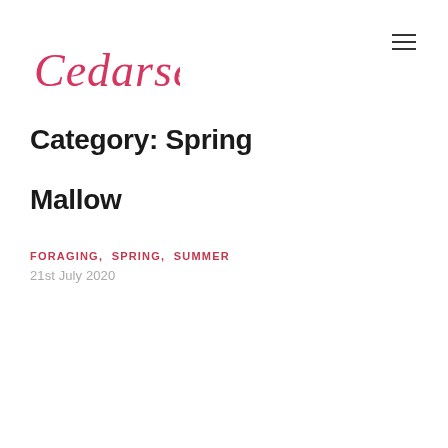[Figure (logo): Cedarseed script logo in pink/red cursive text]
Category: Spring
Mallow
FORAGING, SPRING, SUMMER
21st July 2020